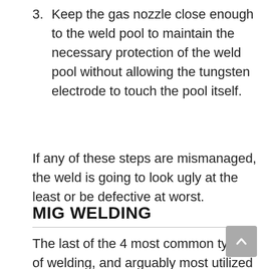3. Keep the gas nozzle close enough to the weld pool to maintain the necessary protection of the weld pool without allowing the tungsten electrode to touch the pool itself.
If any of these steps are mismanaged, the weld is going to look ugly at the least or be defective at worst.
MIG WELDING
The last of the 4 most common types of welding, and arguably most utilized today, is the welding processes known as MIG welding